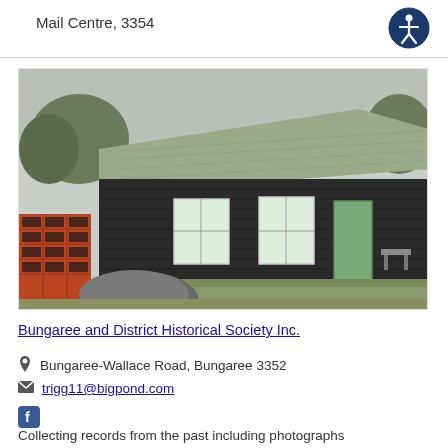Mail Centre, 3354
[Figure (photo): Exterior photo of a dark-walled historic building with a light grey roof, two white-framed windows, a green door, a red brick memorial wall on the left, and a large rounded stone in the foreground on a grassy area.]
Bungaree and District Historical Society Inc.
Bungaree-Wallace Road, Bungaree 3352
trigg11@bigpond.com
Collecting records from the past including photographs